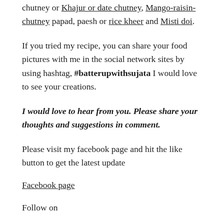chutney or Khajur or date chutney, Mango-raisin-chutney papad, paesh or rice kheer and Misti doi.
If you tried my recipe, you can share your food pictures with me in the social network sites by using hashtag, #batterupwithsujata I would love to see your creations.
I would love to hear from you. Please share your thoughts and suggestions in comment.
Please visit my facebook page and hit the like button to get the latest update
Facebook page
Follow on
Twitter